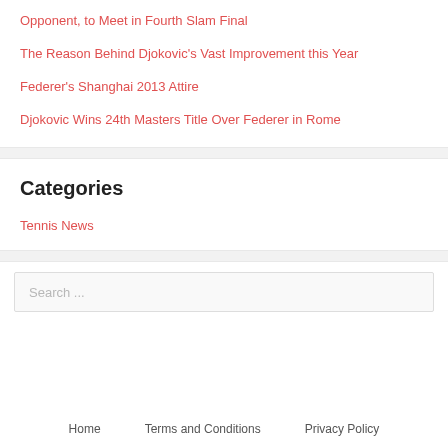Opponent, to Meet in Fourth Slam Final
The Reason Behind Djokovic's Vast Improvement this Year
Federer's Shanghai 2013 Attire
Djokovic Wins 24th Masters Title Over Federer in Rome
Categories
Tennis News
Search ...
Home   Terms and Conditions   Privacy Policy